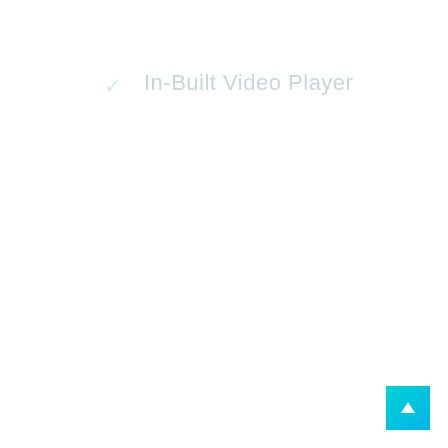✓  In-Built Video Player
[Figure (illustration): Scroll-to-top button with upward arrow, teal/cyan gradient background, positioned at bottom-right corner]